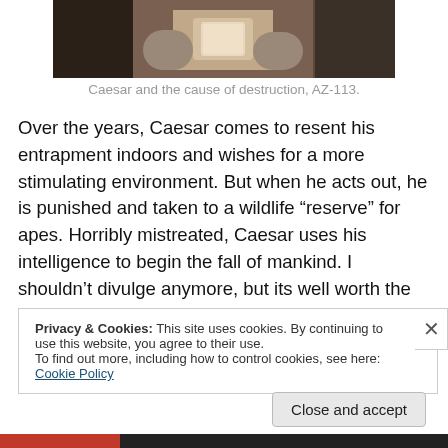[Figure (photo): Photo of Caesar the ape holding a cup, cropped at top of page]
Caesar and the cause of destruction, AZ-113.
Over the years, Caesar comes to resent his entrapment indoors and wishes for a more stimulating environment. But when he acts out, he is punished and taken to a wildlife “reserve” for apes. Horribly mistreated, Caesar uses his intelligence to begin the fall of mankind. I shouldn’t divulge anymore, but its well worth the watch.
Privacy & Cookies: This site uses cookies. By continuing to use this website, you agree to their use.
To find out more, including how to control cookies, see here: Cookie Policy
Close and accept